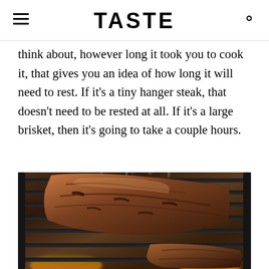TASTE
think about, however long it took you to cook it, that gives you an idea of how long it will need to rest. If it's a tiny hanger steak, that doesn't need to be rested at all. If it's a large brisket, then it's going to take a couple hours.
[Figure (photo): Close-up photo of meat (ribs or brisket) on a charcoal grill with smoke rising, grill grates visible, flames underneath]